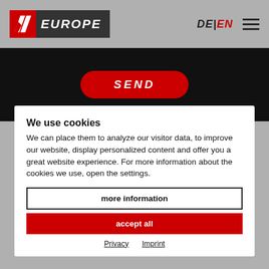[Figure (logo): AK Europe logo: red square with white AK chevron mark, followed by dark gray rectangle with white italic EUROPE text]
[Figure (screenshot): Navigation header with DE|EN language switcher (EN in red) and hamburger menu icon on gray background]
[Figure (screenshot): Black banner with red rounded SEND button containing italic white text]
We use cookies
We can place them to analyze our visitor data, to improve our website, display personalized content and offer you a great website experience. For more information about the cookies we use, open the settings.
more information
accept all
Privacy   Imprint